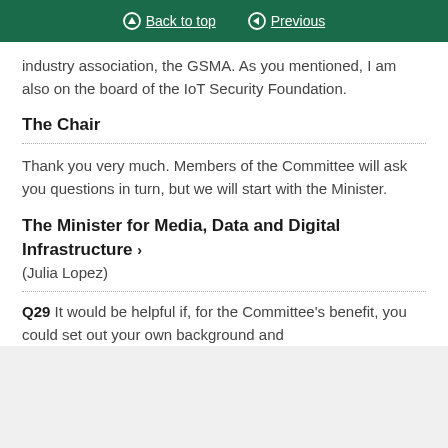Back to top   Previous
industry association, the GSMA. As you mentioned, I am also on the board of the IoT Security Foundation.
The Chair
Thank you very much. Members of the Committee will ask you questions in turn, but we will start with the Minister.
The Minister for Media, Data and Digital Infrastructure > (Julia Lopez)
Q29 It would be helpful if, for the Committee's benefit, you could set out your own background and